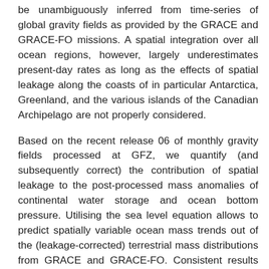be unambiguously inferred from time-series of global gravity fields as provided by the GRACE and GRACE-FO missions. A spatial integration over all ocean regions, however, largely underestimates present-day rates as long as the effects of spatial leakage along the coasts of in particular Antarctica, Greenland, and the various islands of the Canadian Archipelago are not properly considered.
Based on the recent release 06 of monthly gravity fields processed at GFZ, we quantify (and subsequently correct) the contribution of spatial leakage to the post-processed mass anomalies of continental water storage and ocean bottom pressure. Utilising the sea level equation allows to predict spatially variable ocean mass trends out of the (leakage-corrected) terrestrial mass distributions from GRACE and GRACE-FO. Consistent results for the global mean barystatic sea-level rise are obtained also from spatial integrations over ocean masks with different coastal buffer zones ranging from 400 to 1000 km, thereby confirming the